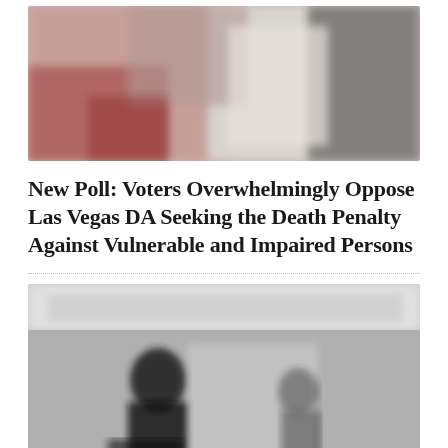[Figure (photo): Blurred outdoor photo with warm tones, showing figures near vehicles or structures, pinkish and muted colors]
New Poll: Voters Overwhelmingly Oppose Las Vegas DA Seeking the Death Penalty Against Vulnerable and Impaired Persons
[Figure (photo): Black and white photograph showing two silhouetted figures, one seated at a desk and one standing, with blurred newspaper or document headline text visible at the top]